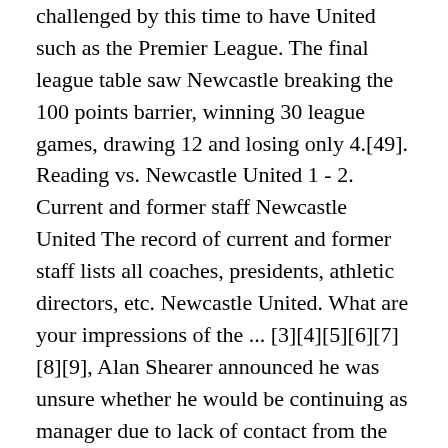challenged by this time to have United such as the Premier League. The final league table saw Newcastle breaking the 100 points barrier, winning 30 league games, drawing 12 and losing only 4.[49]. Reading vs. Newcastle United 1 - 2. Current and former staff Newcastle United The record of current and former staff lists all coaches, presidents, athletic directors, etc. Newcastle United. What are your impressions of the ... [3][4][5][6][7][8][9], Alan Shearer announced he was unsure whether he would be continuing as manager due to lack of contact from the club. They finished in 12th place. Newcastle United squad for 2010-11. Log In. Hours . 2010-11 Newcastle Home Shirt (Good) M. £19.99. Plymouth 0-2 Newcastle.